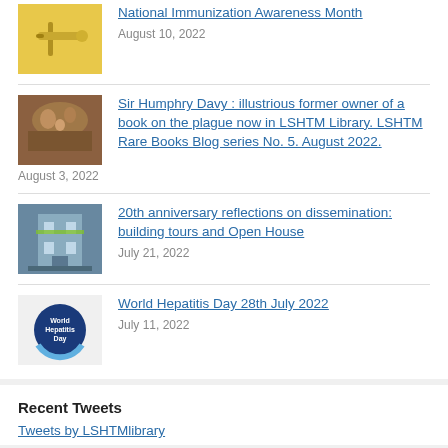National Immunization Awareness Month
August 10, 2022
Sir Humphry Davy : illustrious former owner of a book on the plague now in LSHTM Library. LSHTM Rare Books Blog series No. 5. August 2022.
August 3, 2022
20th anniversary reflections on dissemination: building tours and Open House
July 21, 2022
World Hepatitis Day 28th July 2022
July 11, 2022
Recent Tweets
Tweets by LSHTMlibrary